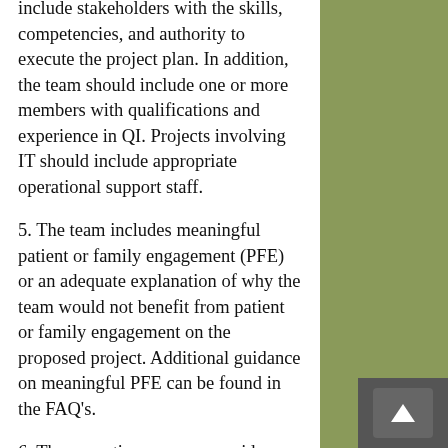include stakeholders with the skills, competencies, and authority to execute the project plan. In addition, the team should include one or more members with qualifications and experience in QI. Projects involving IT should include appropriate operational support staff.
5. The team includes meaningful patient or family engagement (PFE) or an adequate explanation of why the team would not benefit from patient or family engagement on the proposed project. Additional guidance on meaningful PFE can be found in the FAQ's.
6. The executive sponsor provides a letter of support that attests to EACH of the following elements (NOTE: lack of any of these elements in the Executive Sponsor letter may result in disqualification of the